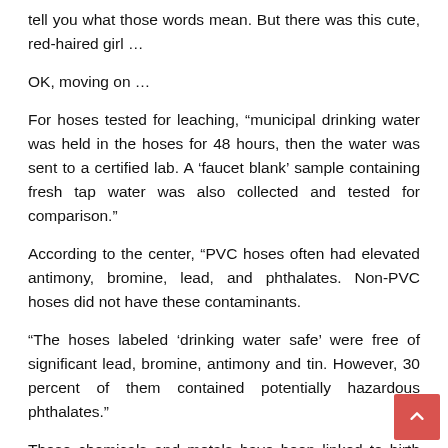tell you what those words mean. But there was this cute, red-haired girl …
OK, moving on …
For hoses tested for leaching, “municipal drinking water was held in the hoses for 48 hours, then the water was sent to a certified lab. A ‘faucet blank’ sample containing fresh tap water was also collected and tested for comparison.”
According to the center, “PVC hoses often had elevated antimony, bromine, lead, and phthalates. Non-PVC hoses did not have these contaminants.
“The hoses labeled ‘drinking water safe’ were free of significant lead, bromine, antimony and tin. However, 30 percent of them contained potentially hazardous phthalates.”
These chemicals and metals have been linked to birth defects, cancer, diabetes, hormone disruption and infertility, among others. Possibly even cyberchondria